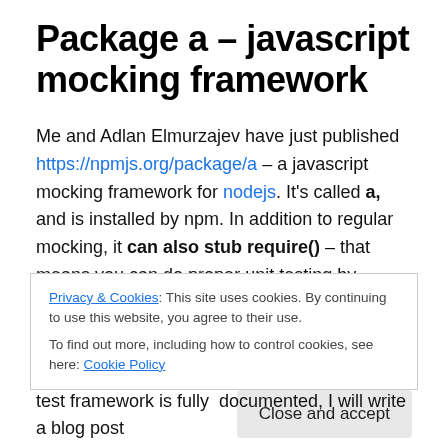Package a – javascript mocking framework
Me and Adlan Elmurzajev have just published https://npmjs.org/package/a – a javascript mocking framework for nodejs. It's called a, and is installed by npm. In addition to regular mocking, it can also stub require() – that means you can do proper unit testing by isolating the dependencies. The mocking framework can be used in
Privacy & Cookies: This site uses cookies. By continuing to use this website, you agree to their use. To find out more, including how to control cookies, see here: Cookie Policy
test framework is fully  documented, I will write a blog post